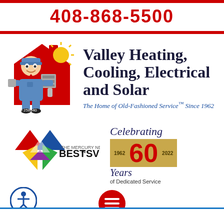408-868-5500
[Figure (logo): Valley Heating, Cooling, Electrical and Solar mascot — cartoon man in blue uniform in front of red house with sun, text LIC# 258540]
Valley Heating, Cooling, Electrical and Solar
The Home of Old-Fashioned Service™ Since 1962
[Figure (logo): The Mercury News Best in SV award logo — colorful star shape]
[Figure (infographic): Celebrating 60 Years of Dedicated Service — 1962 to 2022 gold banner with large red 60]
[Figure (logo): Accessibility icon — person in circle]
[Figure (logo): Red hamburger menu button]